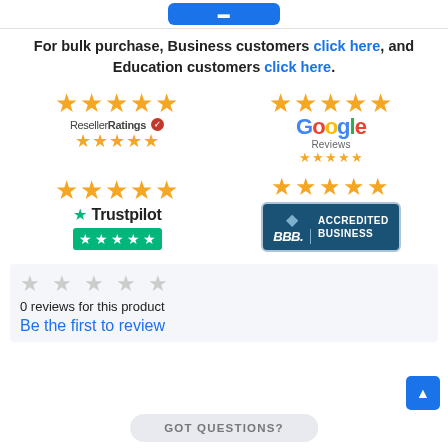[Figure (screenshot): Top button partial view]
For bulk purchase, Business customers click here, and Education customers click here.
[Figure (logo): ResellerRatings 5-star rating logo with gold stars]
[Figure (logo): Google Reviews 5-star rating logo]
[Figure (logo): Trustpilot 5-star rating with green stars bar]
[Figure (logo): BBB Accredited Business badge with gold stars]
0 reviews for this product
Be the first to review
GOT QUESTIONS?